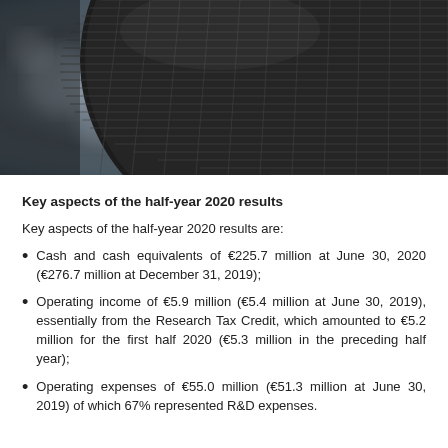[Figure (photo): Close-up photograph of a black microphone mesh head against a blurred background]
Key aspects of the half-year 2020 results
Key aspects of the half-year 2020 results are:
Cash and cash equivalents of €225.7 million at June 30, 2020 (€276.7 million at December 31, 2019);
Operating income of €5.9 million (€5.4 million at June 30, 2019), essentially from the Research Tax Credit, which amounted to €5.2 million for the first half 2020 (€5.3 million in the preceding half year);
Operating expenses of €55.0 million (€51.3 million at June 30, 2019) of which 67% represented R&D expenses.